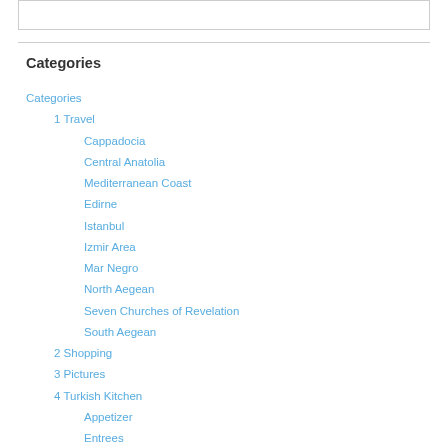[Figure (other): Empty box at top of page]
Categories
Categories
1 Travel
Cappadocia
Central Anatolia
Mediterranean Coast
Edirne
Istanbul
Izmir Area
Mar Negro
North Aegean
Seven Churches of Revelation
South Aegean
2 Shopping
3 Pictures
4 Turkish Kitchen
Appetizer
Entrees
Desserts